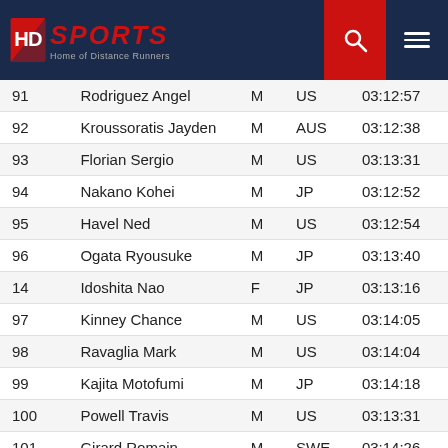HD Sports - Home of Distance Runners
| Rank | Name | Gender | Country | Time |
| --- | --- | --- | --- | --- |
| 91 | Rodriguez Angel | M | US | 03:12:57 |
| 92 | Kroussoratis Jayden | M | AUS | 03:12:38 |
| 93 | Florian Sergio | M | US | 03:13:31 |
| 94 | Nakano Kohei | M | JP | 03:12:52 |
| 95 | Havel Ned | M | US | 03:12:54 |
| 96 | Ogata Ryousuke | M | JP | 03:13:40 |
| 14 | Idoshita Nao | F | JP | 03:13:16 |
| 97 | Kinney Chance | M | US | 03:14:05 |
| 98 | Ravaglia Mark | M | US | 03:14:04 |
| 99 | Kajita Motofumi | M | JP | 03:14:18 |
| 100 | Powell Travis | M | US | 03:13:31 |
| 101 | Girard Romain | M | SWE | 03:14:26 |
| 102 | Takaba Atsushi | M | JP | 03:14:00 |
| 103 | Naval Stieven | M | US | 03:13:58 |
| 104 | Kargol Andrew | M | US | 03:14:58 |
| 105 | Cimarosa Roberto | M | ITA | 03:15:09 |
| 15 | Kajinara Chibi... | F | JP | 03:15:4... |